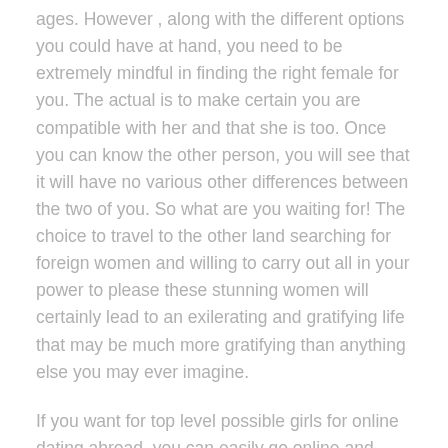ages. However , along with the different options you could have at hand, you need to be extremely mindful in finding the right female for you. The actual is to make certain you are compatible with her and that she is too. Once you can know the other person, you will see that it will have no various other differences between the two of you. So what are you waiting for! The choice to travel to the other land searching for foreign women and willing to carry out all in your power to please these stunning women will certainly lead to an exilerating and gratifying life that may be much more gratifying than anything else you may ever imagine.
If you want for top level possible girls for online dating abroad, you can easily go online and search for a set of some of the very best international websites which offer top quality dating services to satisfy up with gorgeous and interesting foreign women. This will help you easily distinguish the right girls for you and offer you having a list of all the options that may ensure that you get to fulfill the most beautiful ladies and